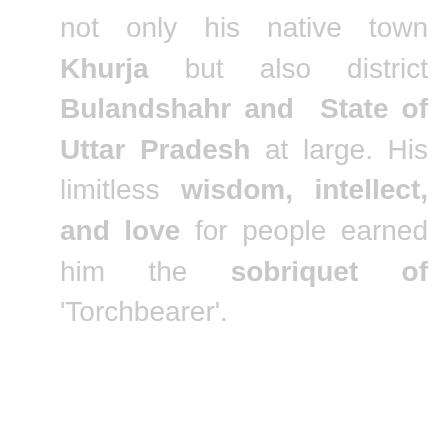not only his native town Khurja but also district Bulandshahr and State of Uttar Pradesh at large. His limitless wisdom, intellect, and love for people earned him the sobriquet of 'Torchbearer'.